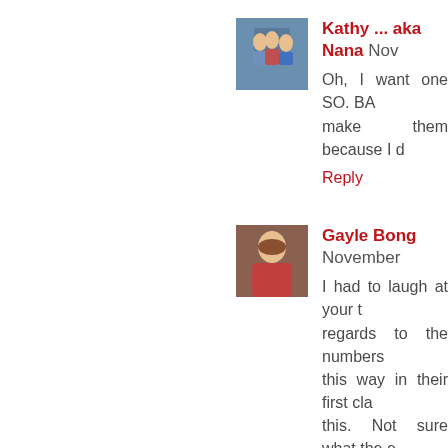[Figure (photo): Avatar photo of Kathy (group photo with people in swimwear)]
Kathy ... aka Nana Nov
Oh, I want one SO. BA make them because I d
Reply
[Figure (photo): Avatar photo of Gayle Bong (woman in red top)]
Gayle Bong November
I had to laugh at your t regards to the numbers this way in their first cla this. Not sure what the e
Reply
[Figure (photo): Avatar photo of Cathy (woman with short hair)]
Cathy November 11, 20 This method looks so e already have this ruler the tip. (I'm a little behin
Reply